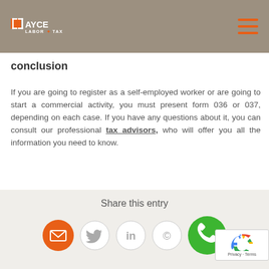AYCE LABOR TAX
conclusion
If you are going to register as a self-employed worker or are going to start a commercial activity, you must present form 036 or 037, depending on each case. If you have any questions about it, you can consult our professional tax advisors, who will offer you all the information you need to know.
Share this entry